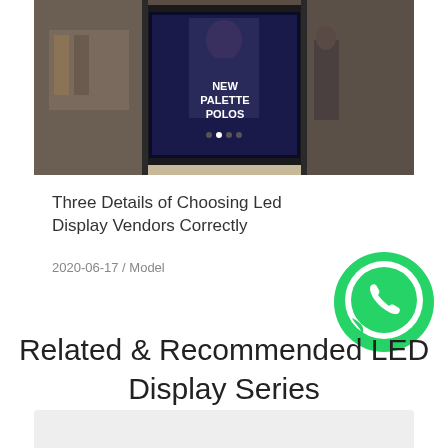[Figure (photo): Retail store front with LED display showing 'NEW PALETTE POLOS' on a dark background, clothing visible inside]
Three Details of Choosing Led Display Vendors Correctly
2020-06-17 / Model
[Figure (logo): WhatsApp logo — green circle with white phone handset inside a speech bubble]
Related & Recommended LED Display Series